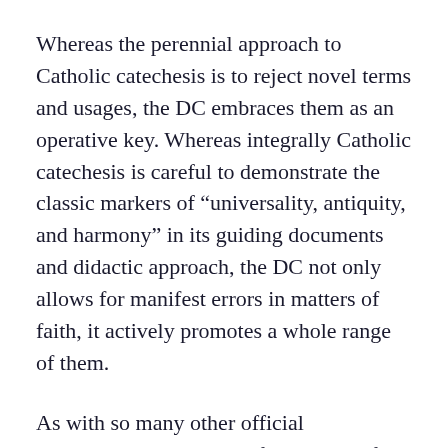Whereas the perennial approach to Catholic catechesis is to reject novel terms and usages, the DC embraces them as an operative key. Whereas integrally Catholic catechesis is careful to demonstrate the classic markers of “universality, antiquity, and harmony” in its guiding documents and didactic approach, the DC not only allows for manifest errors in matters of faith, it actively promotes a whole range of them.
As with so many other official catechetical documents of the past half-century, the question again must be raised: If nothing proposed in the